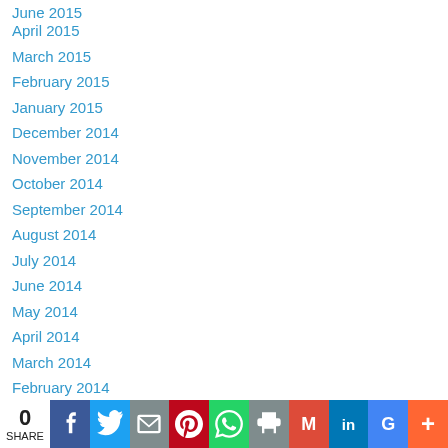June 2015
April 2015
March 2015
February 2015
January 2015
December 2014
November 2014
October 2014
September 2014
August 2014
July 2014
June 2014
May 2014
April 2014
March 2014
February 2014
January 2014
December 2013
November 2013